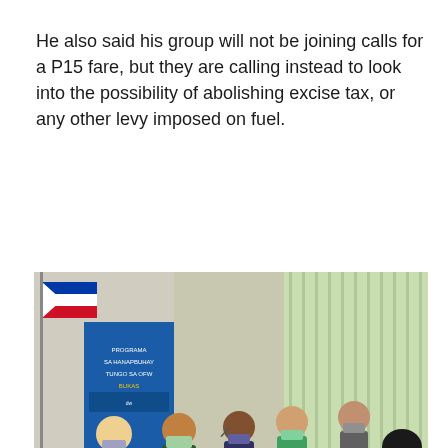He also said his group will not be joining calls for a P15 fare, but they are calling instead to look into the possibility of abolishing excise tax, or any other levy imposed on fuel.
[Figure (photo): A meeting room scene showing several people wearing face masks seated around a large rectangular table. Philippine flags and a banner are visible in the background. The setting appears to be an official government or community meeting.]